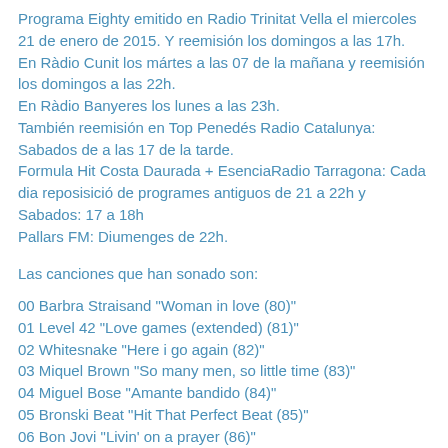Programa Eighty emitido en Radio Trinitat Vella el miercoles 21 de enero de 2015. Y reemisión los domingos a las 17h. En Ràdio Cunit los mártes a las 07 de la mañana y reemisión los domingos a las 22h. En Ràdio Banyeres los lunes a las 23h. También reemisión en Top Penedés Radio Catalunya: Sabados de a las 17 de la tarde. Formula Hit Costa Daurada + EsenciaRadio Tarragona: Cada dia reposisició de programes antiguos de 21 a 22h y Sabados: 17 a 18h Pallars FM: Diumenges de 22h.
Las canciones que han sonado son:
00 Barbra Straisand "Woman in love (80)"
01 Level 42 "Love games (extended) (81)"
02 Whitesnake "Here i go again (82)"
03 Miquel Brown "So many men, so little time (83)"
04 Miguel Bose "Amante bandido (84)"
05 Bronski Beat "Hit That Perfect Beat (85)"
06 Bon Jovi "Livin' on a prayer (86)"
07 Midnight Oil "Beds are burning (extended) (87)"